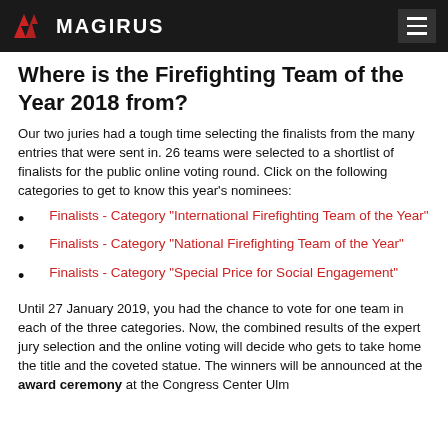MAGIRUS
Where is the Firefighting Team of the Year 2018 from?
Our two juries had a tough time selecting the finalists from the many entries that were sent in. 26 teams were selected to a shortlist of finalists for the public online voting round. Click on the following categories to get to know this year's nominees:
Finalists - Category "International Firefighting Team of the Year"
Finalists - Category "National Firefighting Team of the Year"
Finalists - Category "Special Price for Social Engagement"
Until 27 January 2019, you had the chance to vote for one team in each of the three categories. Now, the combined results of the expert jury selection and the online voting will decide who gets to take home the title and the coveted statue. The winners will be announced at the award ceremony at the Congress Center Ulm